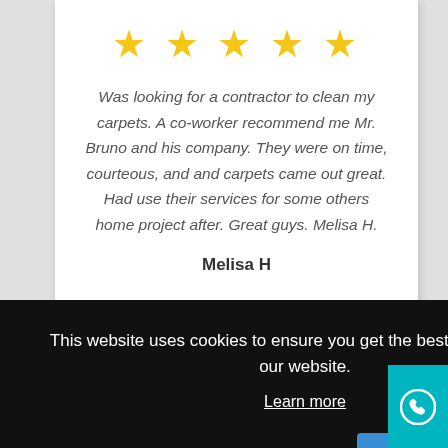[Figure (other): Five gold star rating icons]
Was looking for a contractor to clean my carpets. A co-worker recommend me Mr. Bruno and his company. They were on time, courteous, and and carpets came out great. Had use their services for some others home project after. Great guys. Melisa H.
Melisa H
This website uses cookies to ensure you get the best experience on our website.
Learn more
Decline
Got it!